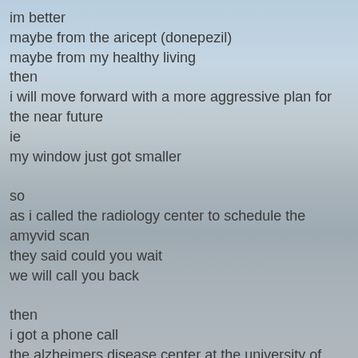im better
maybe from the aricept (donepezil)
maybe from my healthy living
then
i will move forward with a more aggressive plan for the near future
ie
my window just got smaller

so
as i called the radiology center to schedule the amyvid scan
they said could you wait
we will call you back

then
i got a phone call
the alzheimers disease center at the university of texas southwestern
is about to get approval in the next month or two
to start the
ideas study